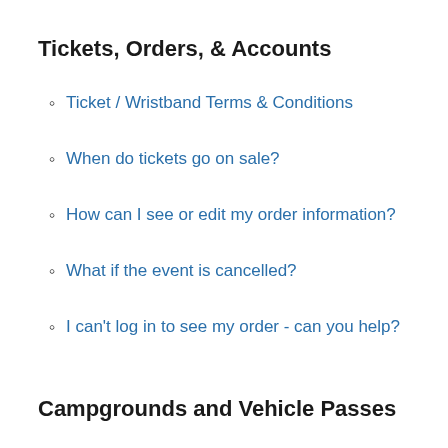Tickets, Orders, & Accounts
Ticket / Wristband Terms & Conditions
When do tickets go on sale?
How can I see or edit my order information?
What if the event is cancelled?
I can't log in to see my order - can you help?
Campgrounds and Vehicle Passes
How do car and camping passes work? Vehicle pass basics
What are the rules for each camping and parking pass type?
What are the rules for RV passes? + RV FAQ
What is “daily entry” and how does it work?
My group is in multiple cars, how do we camp